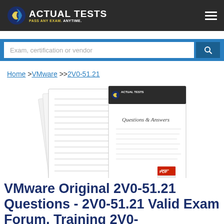ACTUAL TESTS — PASS ANY EXAM. ANYTIME.
Exam, certification or vendor
Home > VMware >> 2V0-51.21
[Figure (photo): Product image showing stacked document pages with 'Questions & Answers' cover featuring Actual Tests logo and a PDF icon in the corner]
VMware Original 2V0-51.21 Questions - 2V0-51.21 Valid Exam Forum, Training 2V0-